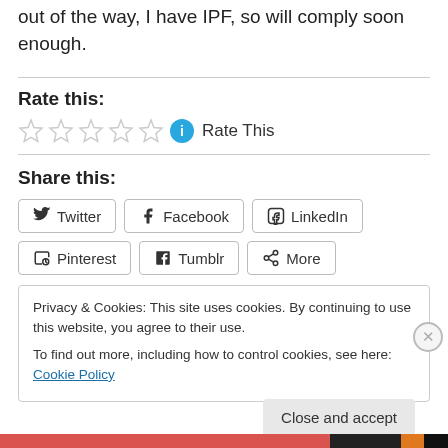out of the way, I have IPF, so will comply soon enough.
Rate this:
[Figure (other): Five empty star rating icons followed by a blue info circle icon and 'Rate This' text]
Share this:
[Figure (other): Social share buttons: Twitter, Facebook, LinkedIn, Pinterest, Tumblr, More]
Privacy & Cookies: This site uses cookies. By continuing to use this website, you agree to their use.
To find out more, including how to control cookies, see here: Cookie Policy
Close and accept